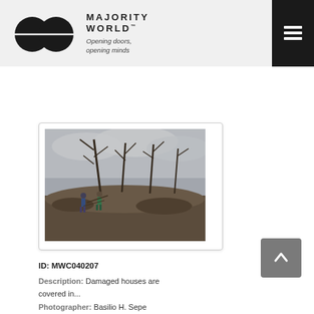[Figure (logo): Majority World logo with two overlapping circles and text 'MAJORITY WORLD™ Opening doors, opening minds']
[Figure (photo): Damaged landscape after a disaster showing people among destroyed trees covered in volcanic ash or mud, cloudy sky above]
ID: MWC040207
Description: Damaged houses are covered in...
Photographer: Basilio H. Sepe
Pixels: 3000x2000